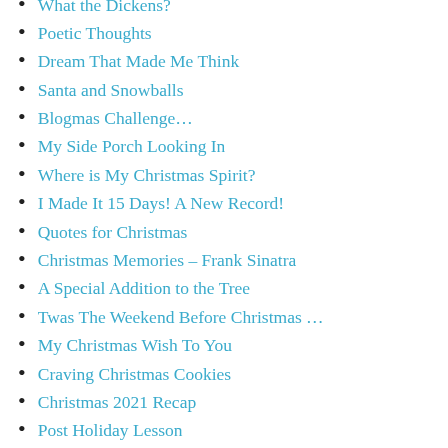What the Dickens?
Poetic Thoughts
Dream That Made Me Think
Santa and Snowballs
Blogmas Challenge…
My Side Porch Looking In
Where is My Christmas Spirit?
I Made It 15 Days! A New Record!
Quotes for Christmas
Christmas Memories – Frank Sinatra
A Special Addition to the Tree
Twas The Weekend Before Christmas …
My Christmas Wish To You
Craving Christmas Cookies
Christmas 2021 Recap
Post Holiday Lesson
A Not So Romantic Date
No More “Bloobies”
2021 – What a Year!
New Year’s Prayer
Spaghetti? I Was Just Dreaming About That …
I’ve Been Yelling At Her For Days
The Importance of a Picture
My Top Three Surprised Me